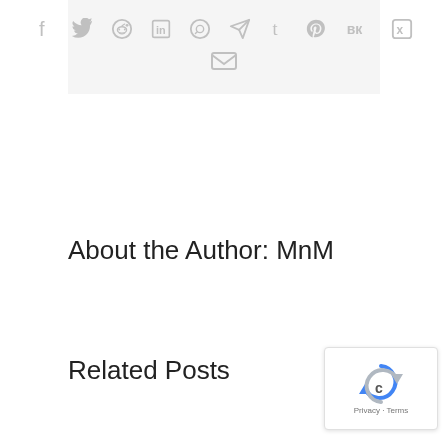[Figure (other): Social media share icons bar with icons for Facebook, Twitter, Reddit, LinkedIn, WhatsApp, Telegram, Tumblr, Pinterest, VK, Xing, and Email]
About the Author: MnM
Related Posts
[Figure (other): Google reCAPTCHA badge with logo and Privacy - Terms text]